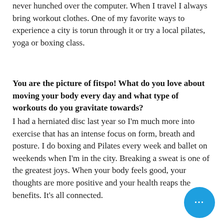never hunched over the computer. When I travel I always bring workout clothes. One of my favorite ways to experience a city is torun through it or try a local pilates, yoga or boxing class.
You are the picture of fitspo! What do you love about moving your body every day and what type of workouts do you gravitate towards?
I had a herniated disc last year so I'm much more into exercise that has an intense focus on form, breath and posture. I do boxing and Pilates every week and ballet on weekends when I'm in the city. Breaking a sweat is one of the greatest joys. When your body feels good, your thoughts are more positive and your health reaps the benefits. It's all connected.
[Figure (other): Blue circular chat bubble button with three dots in the bottom right corner]